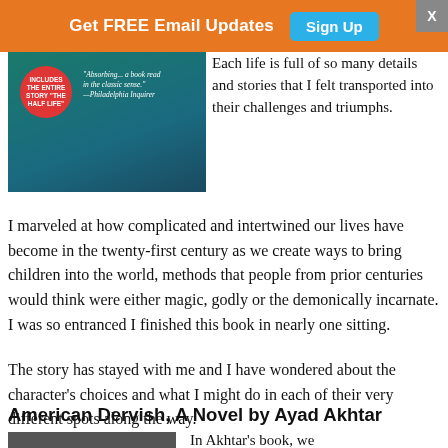[Figure (other): Orange banner advertisement: 'Get FREE Email Updates' with a teal 'Sign Up' button and an X close button on the right.]
[Figure (photo): Book cover image with teal/green gradient background, a red circular badge on the left, and a pull quote on the right.]
Each life is full of so many details and stories that I felt transported into their challenges and triumphs.
I marveled at how complicated and intertwined our lives have become in the twenty-first century as we create ways to bring children into the world, methods that people from prior centuries would think were either magic, godly or the demonically incarnate. I was so entranced I finished this book in nearly one sitting.
The story has stayed with me and I have wondered about the character's choices and what I might do in each of their very different spots along the way.
American Dervish, A Novel by Ayad Akhtar
[Figure (photo): Partial photo of what appears to be a book cover for American Dervish by Ayad Akhtar.]
In Akhtar's book, we